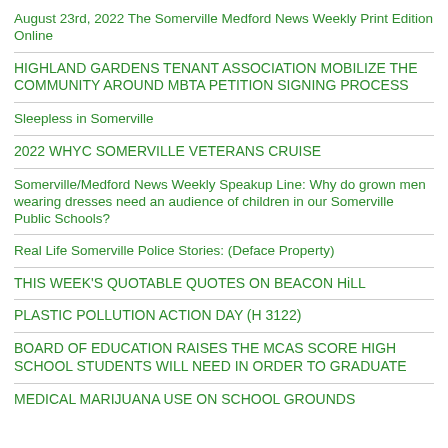August 23rd, 2022 The Somerville Medford News Weekly Print Edition Online
HIGHLAND GARDENS TENANT ASSOCIATION MOBILIZE THE COMMUNITY AROUND MBTA PETITION SIGNING PROCESS
Sleepless in Somerville
2022 WHYC SOMERVILLE VETERANS CRUISE
Somerville/Medford News Weekly Speakup Line: Why do grown men wearing dresses need an audience of children in our Somerville Public Schools?
Real Life Somerville Police Stories: (Deface Property)
THIS WEEK'S QUOTABLE QUOTES ON BEACON HiLL
PLASTIC POLLUTION ACTION DAY (H 3122)
BOARD OF EDUCATION RAISES THE MCAS SCORE HIGH SCHOOL STUDENTS WILL NEED IN ORDER TO GRADUATE
MEDICAL MARIJUANA USE ON SCHOOL GROUNDS